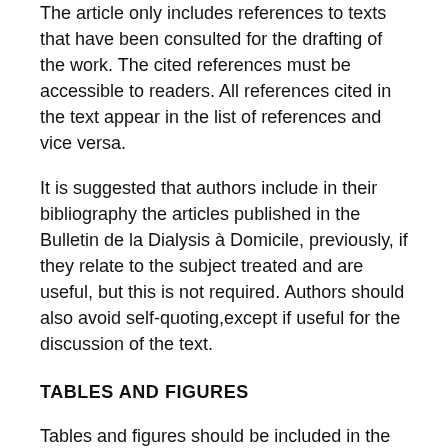The article only includes references to texts that have been consulted for the drafting of the work. The cited references must be accessible to readers. All references cited in the text appear in the list of references and vice versa.
It is suggested that authors include in their bibliography the articles published in the Bulletin de la Dialysis à Domicile, previously, if they relate to the subject treated and are useful, but this is not required. Authors should also avoid self-quoting,except if useful for the discussion of the text.
TABLES AND FIGURES
Tables and figures should be included in the text in their place. A separate original set of excellent quality must be provided.